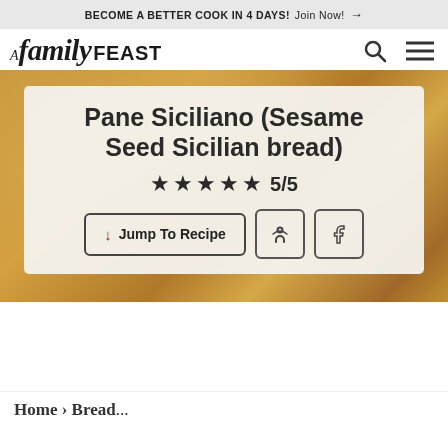BECOME A BETTER COOK IN 4 DAYS! Join Now! →
A family FEAST
Pane Siciliano (Sesame Seed Sicilian bread)
★★★★★ 5/5
↓ Jump To Recipe
Home › Bread...